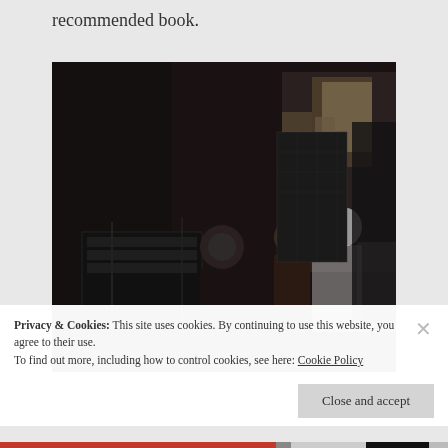recommended book.
[Figure (photo): Black and white historical photograph showing several people in a room, possibly a telephone exchange or laboratory. A man in dark clothing stands on the left, and several women are working at what appears to be equipment or switchboards on the right.]
Privacy & Cookies: This site uses cookies. By continuing to use this website, you agree to their use.
To find out more, including how to control cookies, see here: Cookie Policy
Close and accept